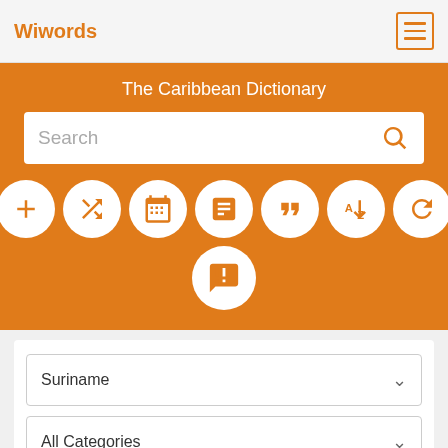Wiwords
The Caribbean Dictionary
[Figure (screenshot): Search bar with placeholder text 'Search' and orange magnifying glass icon]
[Figure (infographic): Row of 7 white circular icon buttons on orange background: plus, shuffle, calendar, notepad, quote, A-Z sort, refresh. Below: one chat bubble icon circle.]
Suriname
All Categories